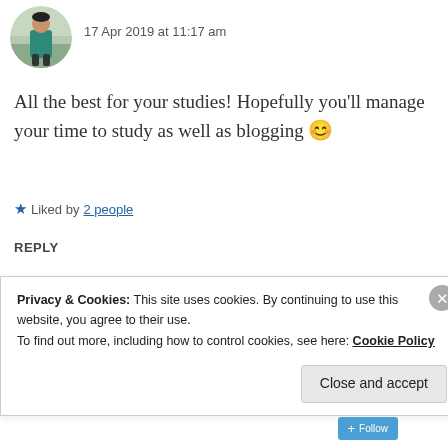[Figure (photo): Circular avatar of a person in a teal jacket standing outdoors]
17 Apr 2019 at 11:17 am
All the best for your studies! Hopefully you'll manage your time to study as well as blogging 😊
★ Liked by 2 people
REPLY
[Figure (photo): Circular avatar of a person wearing a brown hat]
ZEALOUS HOMO SAPIENS
17 Apr 2019 at 10:51 am
Privacy & Cookies: This site uses cookies. By continuing to use this website, you agree to their use.
To find out more, including how to control cookies, see here: Cookie Policy
Close and accept